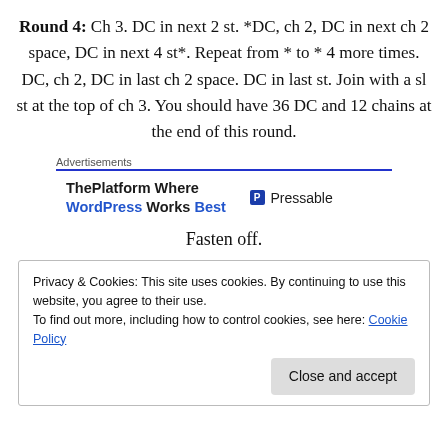Round 4: Ch 3. DC in next 2 st. *DC, ch 2, DC in next ch 2 space, DC in next 4 st*. Repeat from * to * 4 more times. DC, ch 2, DC in last ch 2 space. DC in last st. Join with a sl st at the top of ch 3. You should have 36 DC and 12 chains at the end of this round.
[Figure (other): Advertisement banner: ThePlatform Where WordPress Works Best | Pressable]
Fasten off.
Privacy & Cookies: This site uses cookies. By continuing to use this website, you agree to their use.
To find out more, including how to control cookies, see here: Cookie Policy